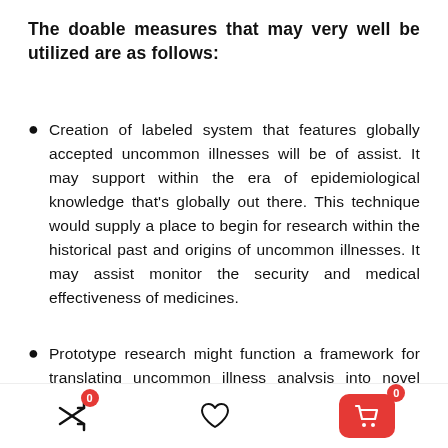The doable measures that may very well be utilized are as follows:
Creation of labeled system that features globally accepted uncommon illnesses will be of assist. It may support within the era of epidemiological knowledge that's globally out there. This technique would supply a place to begin for research within the historical past and origins of uncommon illnesses. It may assist monitor the security and medical effectiveness of medicines.
Prototype research might function a framework for translating uncommon illness analysis into novel drug